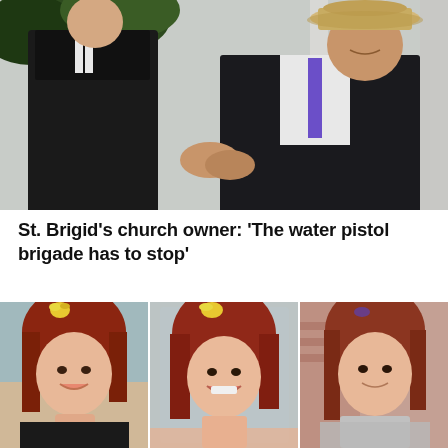[Figure (photo): Two men in formal attire shaking hands or talking outdoors. One wears black judicial/clerical robes, the other wears a dark suit with purple tie and a straw/panama hat. Building columns visible in background.]
St. Brigid's church owner: 'The water pistol brigade has to stop'
[Figure (photo): Three photos of a young woman with reddish-auburn hair, showing different angles/expressions. Small yellow bird (budgie/parakeet) perched on her head in the first two photos. She is smiling in all three photos.]